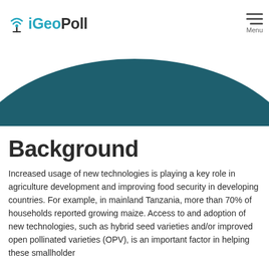iGeoPoll Menu
[Figure (illustration): Dark teal semicircle/dome shape used as decorative hero graphic]
Background
Increased usage of new technologies is playing a key role in agriculture development and improving food security in developing countries. For example, in mainland Tanzania, more than 70% of households reported growing maize. Access to and adoption of new technologies, such as hybrid seed varieties and/or improved open pollinated varieties (OPV), is an important factor in helping these smallholder